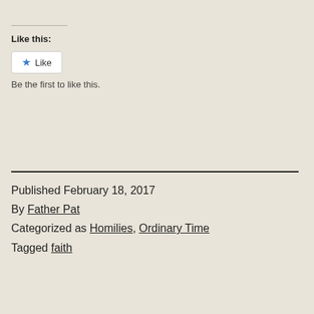Like this:
[Figure (other): Like button widget with a blue star icon and the text 'Like']
Be the first to like this.
Published February 18, 2017
By Father Pat
Categorized as Homilies, Ordinary Time
Tagged faith